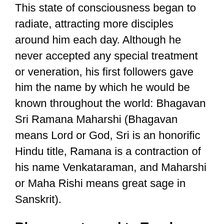This state of consciousness began to radiate, attracting more disciples around him each day. Although he never accepted any special treatment or veneration, his first followers gave him the name by which he would be known throughout the world: Bhagavan Sri Ramana Maharshi (Bhagavan means Lord or God, Sri is an honorific Hindu title, Ramana is a contraction of his name Venkataraman, and Maharshi or Maha Rishi means great sage in Sanskrit).
Bhagavan turned to Teacher.
In the process, he self-realized that nothing exists apart from an indivisible and universal consciousness, which is experienced in its